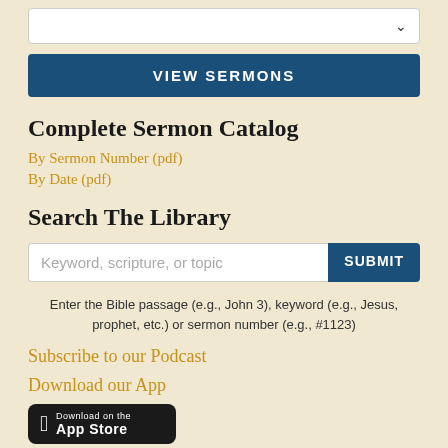[Figure (screenshot): Dropdown select box with chevron arrow on right]
VIEW SERMONS
Complete Sermon Catalog
By Sermon Number (pdf)
By Date (pdf)
Search The Library
[Figure (screenshot): Search input box with placeholder 'Keyword, scripture, or topic' and SUBMIT button]
Enter the Bible passage (e.g., John 3), keyword (e.g., Jesus, prophet, etc.) or sermon number (e.g., #1123)
Subscribe to our Podcast
Download our App
[Figure (screenshot): Apple App Store download badge - black rounded rectangle with apple logo and 'Download on the App Store' text]